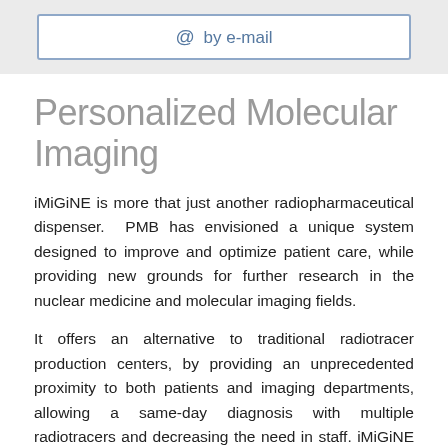[Figure (other): Blue-bordered button/box with '@ by e-mail' text on a light grey background bar]
Personalized Molecular Imaging
iMiGiNE is more that just another radiopharmaceutical dispenser. PMB has envisioned a unique system designed to improve and optimize patient care, while providing new grounds for further research in the nuclear medicine and molecular imaging fields.
It offers an alternative to traditional radiotracer production centers, by providing an unprecedented proximity to both patients and imaging departments, allowing a same-day diagnosis with multiple radiotracers and decreasing the need in staff. iMiGiNE is a game-changing solution which grants imaging centers access to a variety of radiopharmaceuticals at a lower cost...